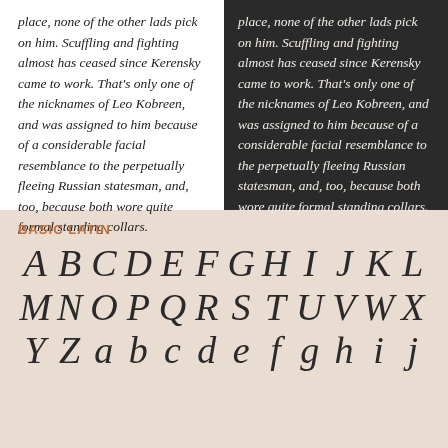place, none of the other lads pick on him. Scuffling and fighting almost has ceased since Kerensky came to work. That's only one of the nicknames of Leo Kobreen, and was assigned to him because of a considerable facial resemblance to the perpetually fleeing Russian statesman, and, too, because both wore quite formal standing collars.
place, none of the other lads pick on him. Scuffling and fighting almost has ceased since Kerensky came to work. That's only one of the nicknames of Leo Kobreen, and was assigned to him because of a considerable facial resemblance to the perpetually fleeing Russian statesman, and, too, because both wore quite formal standing collars.
BASIC LATIN
[Figure (illustration): Display of italic serif alphabet letters A through j in large format showing Basic Latin character set]